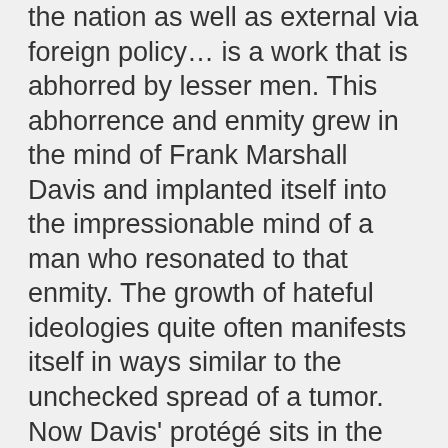the nation as well as external via foreign policy… is a work that is abhorred by lesser men. This abhorrence and enmity grew in the mind of Frank Marshall Davis and implanted itself into the impressionable mind of a man who resonated to that enmity. The growth of hateful ideologies quite often manifests itself in ways similar to the unchecked spread of a tumor. Now Davis' protégé sits in the White House consummately skilled with the power of language and protected by the shroud of post-modern righteousness. He unmakes the tapestry of pax-americana which was painstakingly woven over generations thus upending American